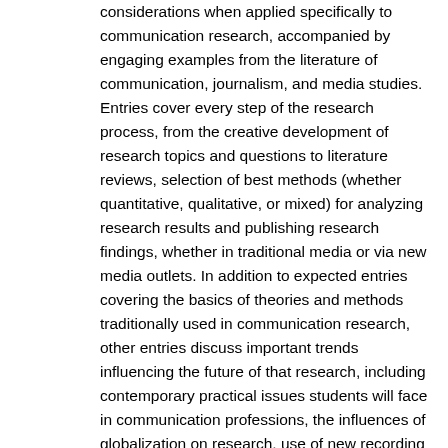considerations when applied specifically to communication research, accompanied by engaging examples from the literature of communication, journalism, and media studies. Entries cover every step of the research process, from the creative development of research topics and questions to literature reviews, selection of best methods (whether quantitative, qualitative, or mixed) for analyzing research results and publishing research findings, whether in traditional media or via new media outlets. In addition to expected entries covering the basics of theories and methods traditionally used in communication research, other entries discuss important trends influencing the future of that research, including contemporary practical issues students will face in communication professions, the influences of globalization on research, use of new recording technologies in fieldwork, and the challenges and opportunities related to studying online multi-media environments. Email, texting, cellphone video, and blogging are shown not only as topics of research but also as means of collecting and analyzing data. Still other entries delve into considerations of accountability, copyright, confidentiality, data ownership and security, privacy, and other aspects of conducting an ethical research program. Features: 652 signed